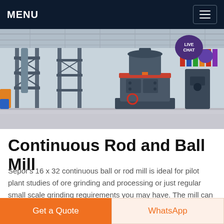MENU
[Figure (photo): Industrial factory floor with large grey grinding mill equipment and steel framework structures inside a warehouse]
Continuous Rod and Ball Mill
Sepor's 16 x 32 continuous ball or rod mill is ideal for pilot plant studies of ore grinding and processing or just regular small scale grinding requirements you may have. The mill can be used in a closed circuit with a spiral classifier
Get a Quote  WhatsApp